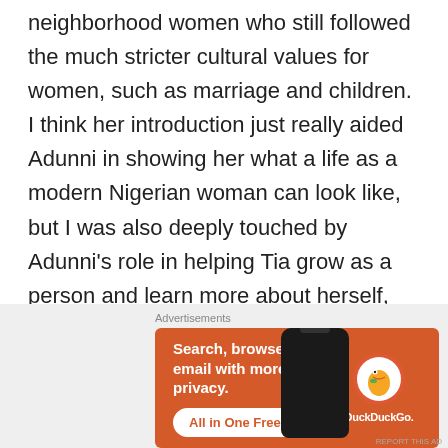neighborhood women who still followed the much stricter cultural values for women, such as marriage and children. I think her introduction just really aided Adunni in showing her what a life as a modern Nigerian woman can look like, but I was also deeply touched by Adunni's role in helping Tia grow as a person and learn more about herself, even as a grown woman.
[Figure (other): DuckDuckGo advertisement banner with orange background. Text reads: 'Search, browse, and email with more privacy. All in One Free App' with DuckDuckGo logo and duck icon, alongside a phone graphic.]